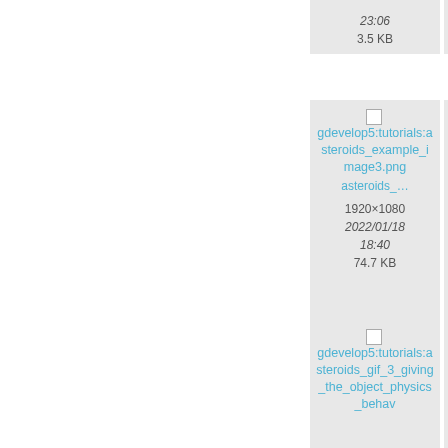[Figure (screenshot): Partial grid of file listing cards from a wiki/documentation site. Top row shows two partially visible cards with dates and file sizes. Middle row shows two cards: left card links to gdevelop5:tutorials:asteroids_example_image3.png (asteroids_...) 1920×1080 2022/01/18 18:40 74.7 KB; right card partially shows gdevelop5:tutorials:asteroids_example_image4_the_move_contr... asteroids... 1920×... 2022/... 19... 131.... Bottom row shows two cards: left links to gdevelop5:tutorials:asteroids_gif_3_giving_the_object_physics_behav...; right links to gdevelop5:tutorials:asteroids_4_m...playe...ar...]